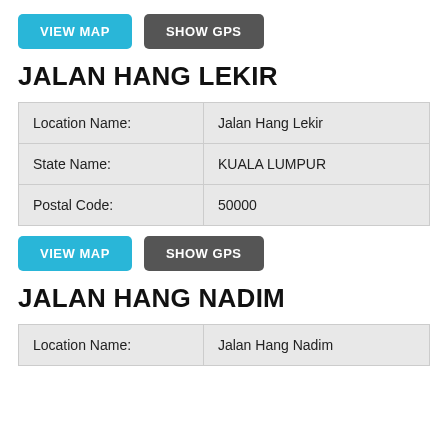[Figure (other): Two buttons: VIEW MAP (blue) and SHOW GPS (dark gray)]
JALAN HANG LEKIR
| Location Name: | Jalan Hang Lekir |
| State Name: | KUALA LUMPUR |
| Postal Code: | 50000 |
[Figure (other): Two buttons: VIEW MAP (blue) and SHOW GPS (dark gray)]
JALAN HANG NADIM
| Location Name: | Jalan Hang Nadim |